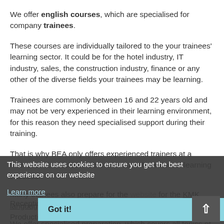We offer english courses, which are specialised for company trainees.
These courses are individually tailored to the your trainees' learning sector. It could be for the hotel industry, IT industry, sales, the construction industry, finance or any other of the diverse fields your trainees may be learning.
Trainees are commonly between 16 and 22 years old and may not be very experienced in their learning environment, for this reason they need specialised support during their training.
That is why BEA only offers experienced trainers at a native level, which are able to ensure the trainees' learning success.
Many trainees also prepare for the website for the KMK language certificate.
We offer specialised preparation, which covers all topics of the KMK language certificate.
This website uses cookies to ensure you get the best experience on our website
Learn more
Got it!
Reception
Production